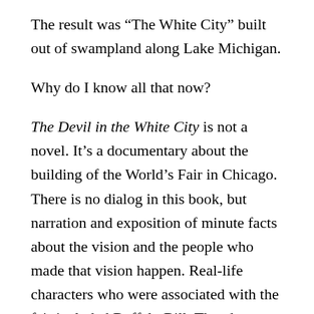The result was “The White City” built out of swampland along Lake Michigan.
Why do I know all that now?
The Devil in the White City is not a novel. It’s a documentary about the building of the World’s Fair in Chicago. There is no dialog in this book, but narration and exposition of minute facts about the vision and the people who made that vision happen. Real-life characters who were associated with the fair included Buffalo Bill, Theodore Dreiser, Susan B. Anthony, Thomas Edison, Archduke Francis Ferdinand, whose assassination on June 28, 1914 provided the spark that